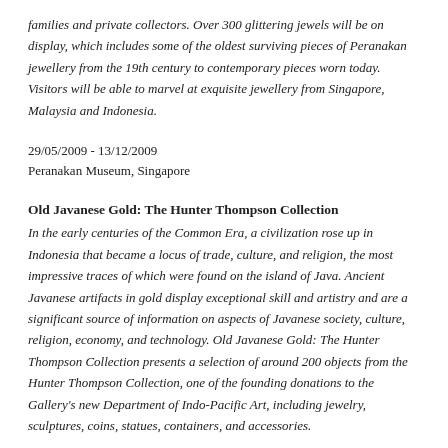families and private collectors. Over 300 glittering jewels will be on display, which includes some of the oldest surviving pieces of Peranakan jewellery from the 19th century to contemporary pieces worn today. Visitors will be able to marvel at exquisite jewellery from Singapore, Malaysia and Indonesia.
29/05/2009 - 13/12/2009
Peranakan Museum, Singapore
Old Javanese Gold: The Hunter Thompson Collection
In the early centuries of the Common Era, a civilization rose up in Indonesia that became a locus of trade, culture, and religion, the most impressive traces of which were found on the island of Java. Ancient Javanese artifacts in gold display exceptional skill and artistry and are a significant source of information on aspects of Javanese society, culture, religion, economy, and technology. Old Javanese Gold: The Hunter Thompson Collection presents a selection of around 200 objects from the Hunter Thompson Collection, one of the founding donations to the Gallery's new Department of Indo-Pacific Art, including jewelry, sculptures, coins, statues, containers, and accessories.
25/03/2011 – 14/08/2011
Yale University Art Gallery, New Haven, CT, USA